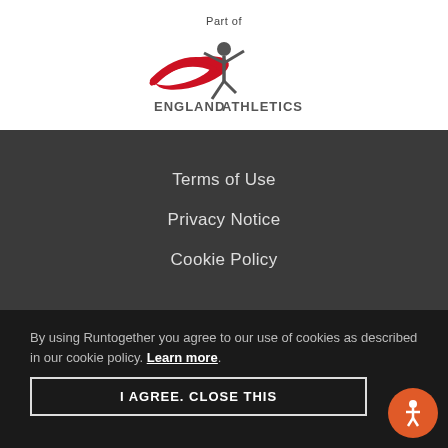Part of
[Figure (logo): England Athletics logo with red swoosh and athlete figure, text reads ENGLAND ATHLETICS]
Terms of Use
Privacy Notice
Cookie Policy
By using Runtogether you agree to our use of cookies as described in our cookie policy. Learn more.
I AGREE. CLOSE THIS